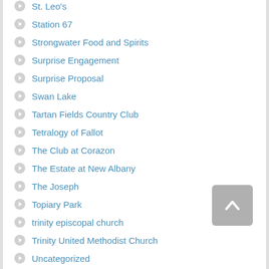St. Leo's
Station 67
Strongwater Food and Spirits
Surprise Engagement
Surprise Proposal
Swan Lake
Tartan Fields Country Club
Tetralogy of Fallot
The Club at Corazon
The Estate at New Albany
The Joseph
Topiary Park
trinity episcopal church
Trinity United Methodist Church
Uncategorized
Vets Memorial